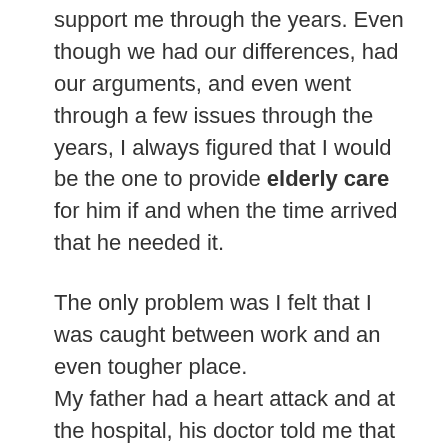support me through the years. Even though we had our differences, had our arguments, and even went through a few issues through the years, I always figured that I would be the one to provide elderly care for him if and when the time arrived that he needed it.
The only problem was I felt that I was caught between work and an even tougher place. My father had a heart attack and at the hospital, his doctor told me that he needed elder care services when he was released. I knew he was going to need assistance that I couldn't provide, but I figured that hiring a visiting nurse once a week was going